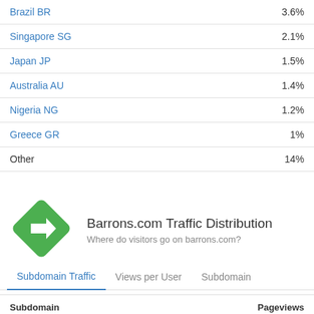| Country | Percentage |
| --- | --- |
| India IN | 1.8% |
| Brazil BR | 3.6% |
| Singapore SG | 2.1% |
| Japan JP | 1.5% |
| Australia AU | 1.4% |
| Nigeria NG | 1.2% |
| Greece GR | 1% |
| Other | 14% |
[Figure (logo): Green diamond-shaped traffic/navigation icon with a white right-pointing arrow inside]
Barrons.com Traffic Distribution
Where do visitors go on barrons.com?
Subdomain Traffic	Views per User	Subdomain
| Subdomain | Pageviews |
| --- | --- |